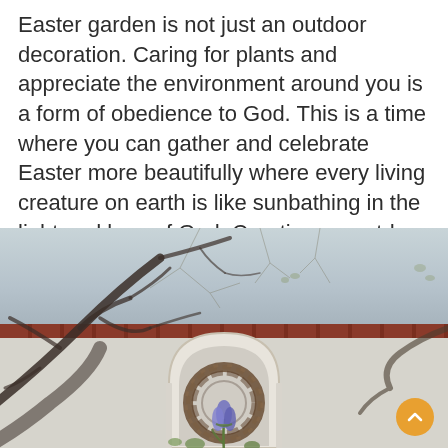Easter garden is not just an outdoor decoration. Caring for plants and appreciate the environment around you is a form of obedience to God. This is a time where you can gather and celebrate Easter more beautifully where every living creature on earth is like sunbathing in the light and love of God. Creating an outdoor Easter garden is a great way for you.
[Figure (photo): Outdoor garden photo showing bare winter tree branches in the foreground against a light sky, a white/cream stucco wall with a red tile band along the top, and a white arched frame mounted on the wall containing a brown woven twig wreath with a blue/purple tulip flower at the base. A small round orange scroll-up button is visible in the lower right corner.]